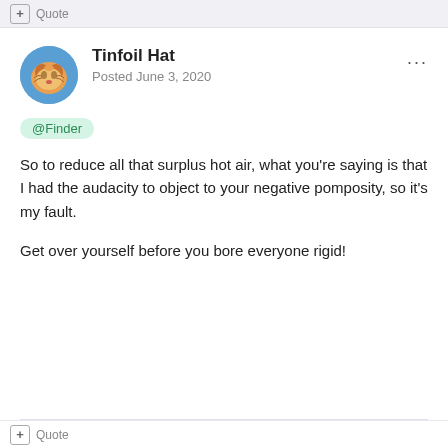+ Quote
[Figure (photo): Circular avatar showing a cat or animal face with orange and gold tones on a blue background]
Tinfoil Hat
Posted June 3, 2020
@Finder
So to reduce all that surplus hot air, what you're saying is that I had the audacity to object to your negative pomposity, so it's my fault.

Get over yourself before you bore everyone rigid!
+ Quote